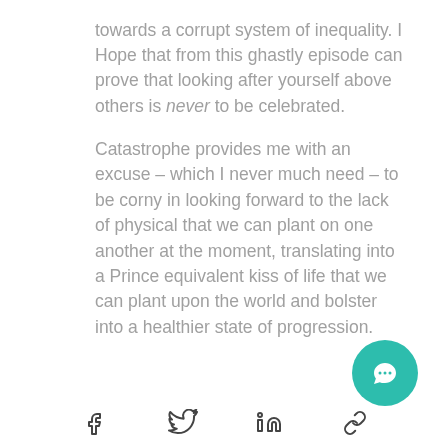towards a corrupt system of inequality. I Hope that from this ghastly episode can prove that looking after yourself above others is never to be celebrated.
Catastrophe provides me with an excuse – which I never much need – to be corny in looking forward to the lack of physical that we can plant on one another at the moment, translating into a Prince equivalent kiss of life that we can plant upon the world and bolster into a healthier state of progression.
[Figure (other): Social sharing icons: Facebook, Twitter, LinkedIn, Link/chain icon]